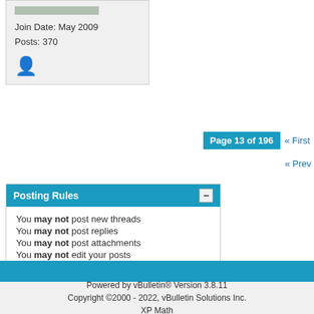Join Date: May 2009
Posts: 370
Page 13 of 196  « First
« Prev
Posting Rules
You may not post new threads
You may not post replies
You may not post attachments
You may not edit your posts
BB code is On
Smilies are On
[IMG] code is On
HTML code is Off
Forum Rules
All times are G
Powered by vBulletin® Version 3.8.11
Copyright ©2000 - 2022, vBulletin Solutions Inc.
XP Math